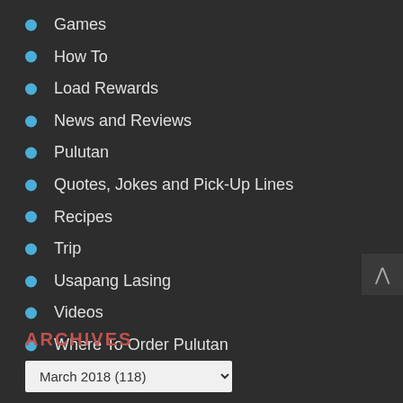Games
How To
Load Rewards
News and Reviews
Pulutan
Quotes, Jokes and Pick-Up Lines
Recipes
Trip
Usapang Lasing
Videos
Where To Order Pulutan
ARCHIVES
March 2018  (118)